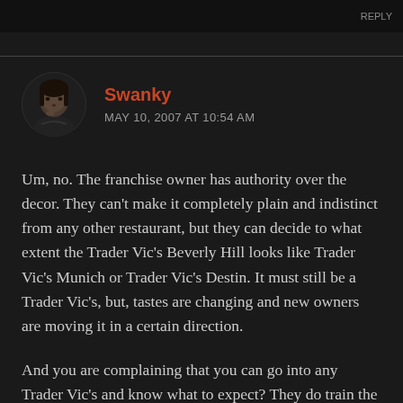REPLY
[Figure (photo): Circular avatar photo of a man with dark hair, hand near chin, against a dark background]
Swanky
MAY 10, 2007 AT 10:54 AM
Um, no. The franchise owner has authority over the decor. They can’t make it completely plain and indistinct from any other restaurant, but they can decide to what extent the Trader Vic’s Beverly Hill looks like Trader Vic’s Munich or Trader Vic’s Destin. It must still be a Trader Vic’s, but, tastes are changing and new owners are moving it in a certain direction.
And you are complaining that you can go into any Trader Vic’s and know what to expect? They do train the staff at the corporate office. The menu is